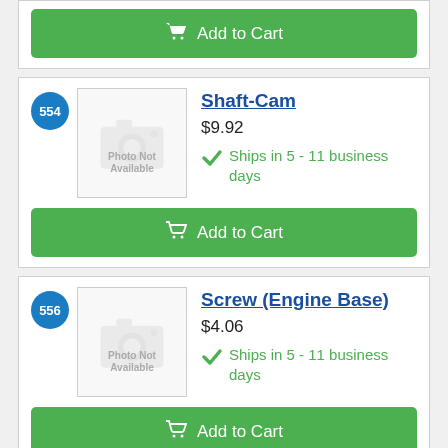[Figure (other): Add to Cart button (partial, top of page)]
554
[Figure (photo): Photo Not Available placeholder image for Shaft-Cam]
Shaft-Cam
$9.92
Ships in 5 - 11 business days
[Figure (other): Add to Cart button for Shaft-Cam]
556
[Figure (photo): Photo Not Available placeholder image for Screw (Engine Base)]
Screw (Engine Base)
$4.06
Ships in 5 - 11 business days
[Figure (other): Add to Cart button for Screw (Engine Base)]
[Figure (other): Partial product row at bottom (item 558 badge visible)]